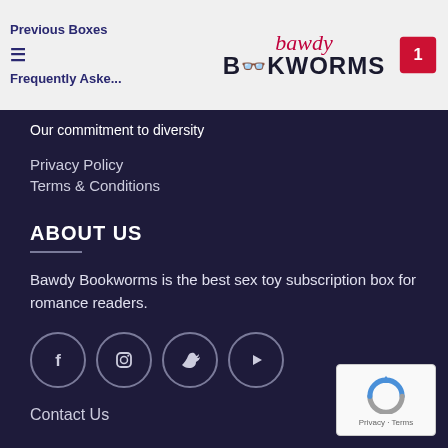Previous Boxes | Frequently Asked | Our commitment to diversity
[Figure (logo): Bawdy Bookworms logo with script 'bawdy' in red and block 'BOOKWORMS' text with glasses icon]
Our commitment to diversity
Privacy Policy
Terms & Conditions
ABOUT US
Bawdy Bookworms is the best sex toy subscription box for romance readers.
[Figure (illustration): Social media icons: Facebook, Instagram, Twitter, YouTube — white outlined circles on dark background]
Contact Us
[Figure (logo): reCAPTCHA badge with blue/grey circular arrow logo and 'Privacy - Terms' text]